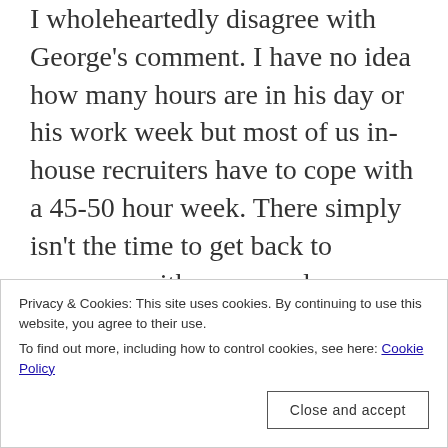I wholeheartedly disagree with George's comment. I have no idea how many hours are in his day or his work week but most of us in-house recruiters have to cope with a 45-50 hour week. There simply isn't the time to get back to everyone with a personal message. We often have hundreds of applicants for a role, multiply that by 10 to 15 roles and you start seeing that just getting back to people with a personal touch would be a full time job. At least with a bog standard reply it shows that the candidate's application has been received, evaluated and in some
Privacy & Cookies: This site uses cookies. By continuing to use this website, you agree to their use.
To find out more, including how to control cookies, see here: Cookie Policy
an initial screening component that removes the